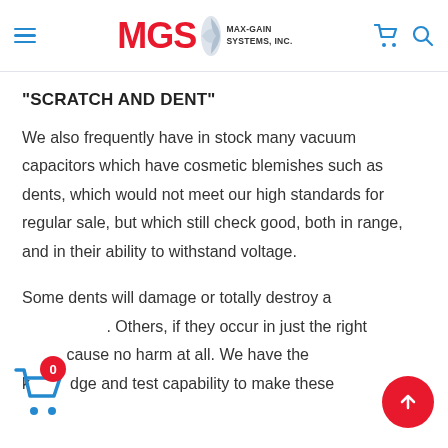MGS MAX-GAIN SYSTEMS, INC.
“SCRATCH AND DENT”
We also frequently have in stock many vacuum capacitors which have cosmetic blemishes such as dents, which would not meet our high standards for regular sale, but which still check good, both in range, and in their ability to withstand voltage.
Some dents will damage or totally destroy a [capacitor]. Others, if they occur in just the right [place], cause no harm at all. We have the kn[ow]ledge and test capability to make these